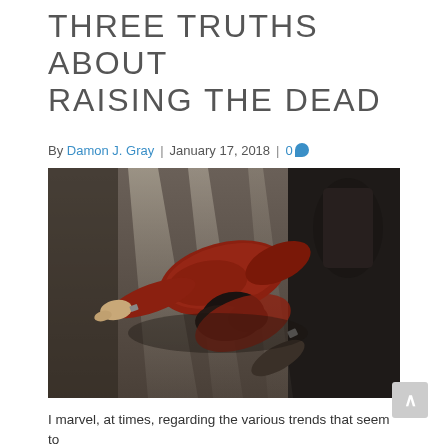THREE TRUTHS ABOUT RAISING THE DEAD
By Damon J. Gray | January 17, 2018 | 0
[Figure (photo): A person in a red sweater lying prostrate on a dark floor, face down with arms stretched out, photographed from above at an angle.]
I marvel, at times, regarding the various trends that seem to captivate the attention of large numbers of people. More oft...